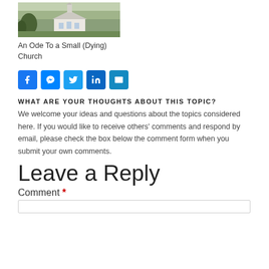[Figure (photo): Photo of a small white church building with steeple, surrounded by green trees and landscape]
An Ode To a Small (Dying) Church
[Figure (infographic): Social media sharing buttons: Facebook, Messenger, Twitter, LinkedIn, Email]
WHAT ARE YOUR THOUGHTS ABOUT THIS TOPIC?
We welcome your ideas and questions about the topics considered here. If you would like to receive others' comments and respond by email, please check the box below the comment form when you submit your own comments.
Leave a Reply
Comment *